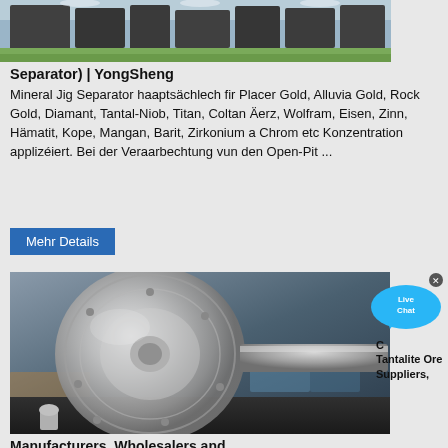[Figure (photo): Top portion of industrial machinery/separator in a factory setting with green floor]
Separator) | YongSheng
Mineral Jig Separator haaptsächlech fir Placer Gold, Alluvia Gold, Rock Gold, Diamant, Tantal-Niob, Titan, Coltan Äerz, Wolfram, Eisen, Zinn, Hämatit, Kope, Mangan, Barit, Zirkonium a Chrom etc Konzentration applizéiert. Bei der Veraarbechtung vun den Open-Pit ...
Mehr Details
[Figure (photo): Close-up of a metallic industrial component (round disc/gear with shaft) in a workshop]
[Figure (illustration): Live Chat bubble icon]
Coltan Tantalite Ore Suppliers,
Manufacturers, Wholesalers and …
Coltan available immediately Specifications EX African Port ready for delivery with international certification and LC payment Terms Tantalum Ta 38.73% / 32.32% Niobium Nb